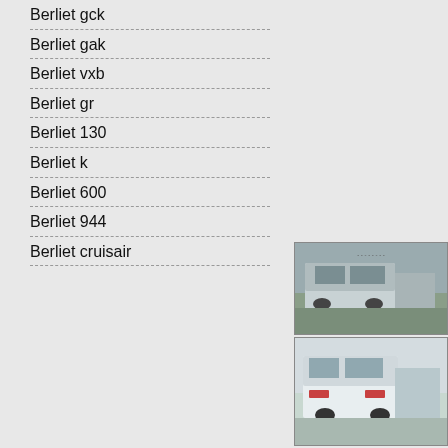Berliet gck
Berliet gak
Berliet vxb
Berliet gr
Berliet 130
Berliet k
Berliet 600
Berliet 944
Berliet cruisair
[Figure (photo): Abandoned white/grey vintage Berliet truck in a field, front-side view]
[Figure (photo): Partially visible truck on the right side, cut off]
[Figure (photo): White modern Berliet box truck, front view parked]
[Figure (photo): Partially visible orange/brown truck on the right side, cut off]